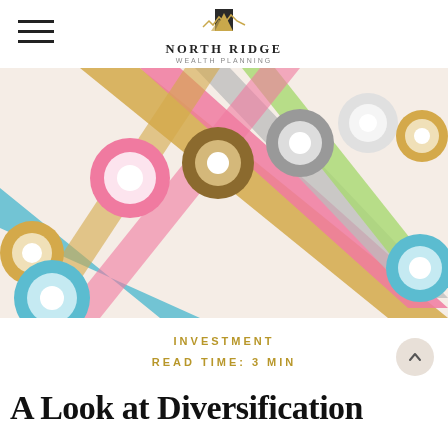North Ridge Wealth Planning
[Figure (photo): Colorful rolls of washi tape (blue, pink, gold, gray, green) unrolled diagonally on a light pink background, photographed from above at an angle.]
INVESTMENT
READ TIME: 3 MIN
A Look at Diversification